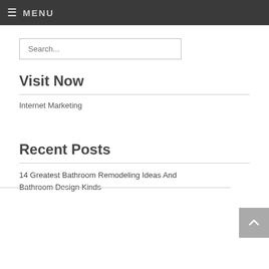≡ MENU
Search...
Visit Now
Internet Marketing
Recent Posts
14 Greatest Bathroom Remodeling Ideas And Bathroom Design Kinds